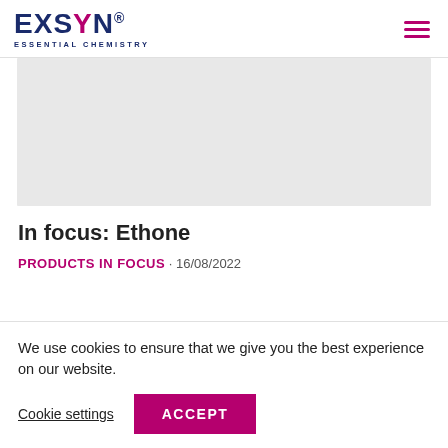EXSYN® ESSENTIAL CHEMISTRY
[Figure (photo): Gray placeholder image area representing a product or article image]
In focus: Ethone
PRODUCTS IN FOCUS · 16/08/2022
We use cookies to ensure that we give you the best experience on our website.
Cookie settings  ACCEPT